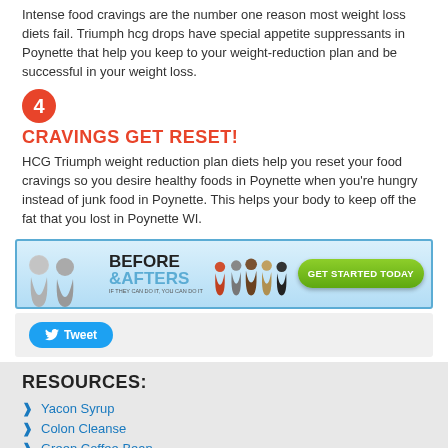Intense food cravings are the number one reason most weight loss diets fail. Triumph hcg drops have special appetite suppressants in Poynette that help you keep to your weight-reduction plan and be successful in your weight loss.
4 CRAVINGS GET RESET!
HCG Triumph weight reduction plan diets help you reset your food cravings so you desire healthy foods in Poynette when you're hungry instead of junk food in Poynette. This helps your body to keep off the fat that you lost in Poynette WI.
[Figure (infographic): Before & Afters banner with before/after people images and a green 'GET STARTED TODAY' button]
[Figure (other): Twitter Tweet button]
RESOURCES:
Yacon Syrup
Colon Cleanse
Green Coffee Bean
Pure Garcinia Cambogia